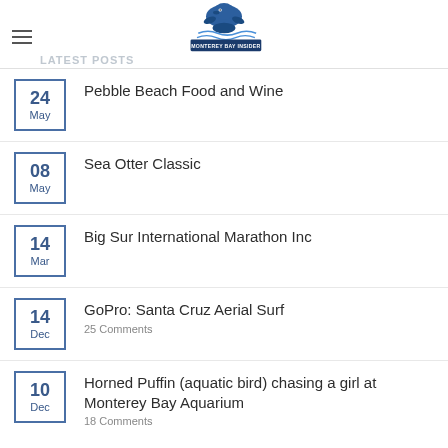LATEST POSTS — Monterey Bay Insider
24 May — Pebble Beach Food and Wine
08 May — Sea Otter Classic
14 Mar — Big Sur International Marathon Inc
14 Dec — GoPro: Santa Cruz Aerial Surf — 25 Comments
10 Dec — Horned Puffin (aquatic bird) chasing a girl at Monterey Bay Aquarium — 18 Comments
RECENT COMMENTS